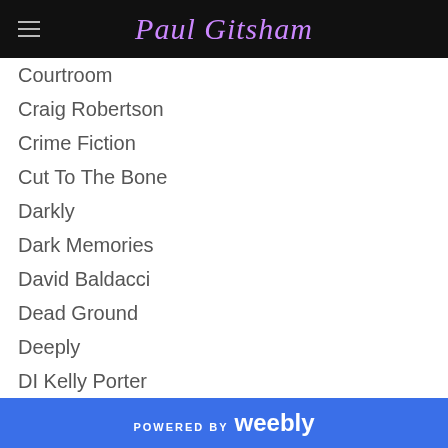Paul Gitsham
Courtroom
Craig Robertson
Crime Fiction
Cut To The Bone
Darkly
Dark Memories
David Baldacci
Dead Ground
Deeply
DI Kelly Porter
DI Rachel Narey
In Cold Blood
Investigative Reporter
Jack McEvoy
Jack Reacher
Jane Bettany
POWERED BY weebly